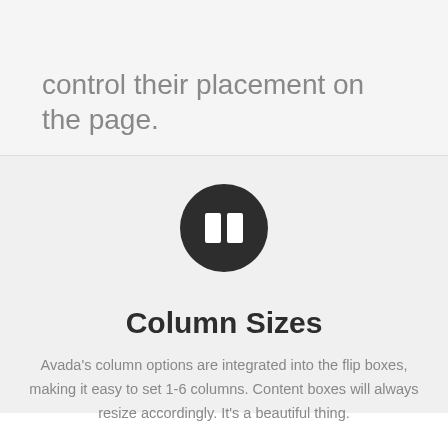inside of our regular column shortcodes to control their placement on the page.
[Figure (illustration): Dark circle icon containing a two-column layout symbol (two white rectangles side by side)]
Column Sizes
Avada's column options are integrated into the flip boxes, making it easy to set 1-6 columns. Content boxes will always resize accordingly. It's a beautiful thing.